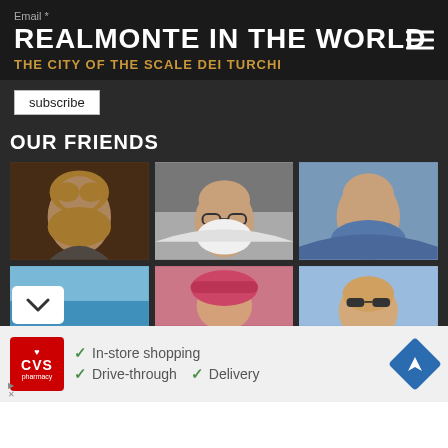Email *
REALMONTE IN THE WORLD
THE CITY OF THE SCALE DEI TURCHI
subscribe
OUR FRIENDS
[Figure (photo): Grid of six portrait photos of people, arranged in two rows of three. Top row: blonde woman, older man with glasses, man in blue shirt. Bottom row: ocean/sea background, person in pink hat, blonde woman with sunglasses.]
[Figure (infographic): CVS Pharmacy advertisement showing logo and services: In-store shopping, Drive-through, Delivery with checkmarks and a navigation icon.]